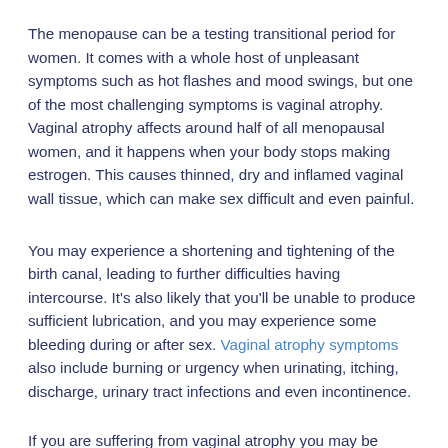The menopause can be a testing transitional period for women. It comes with a whole host of unpleasant symptoms such as hot flashes and mood swings, but one of the most challenging symptoms is vaginal atrophy. Vaginal atrophy affects around half of all menopausal women, and it happens when your body stops making estrogen. This causes thinned, dry and inflamed vaginal wall tissue, which can make sex difficult and even painful.
You may experience a shortening and tightening of the birth canal, leading to further difficulties having intercourse. It's also likely that you'll be unable to produce sufficient lubrication, and you may experience some bleeding during or after sex. Vaginal atrophy symptoms also include burning or urgency when urinating, itching, discharge, urinary tract infections and even incontinence.
If you are suffering from vaginal atrophy you may be